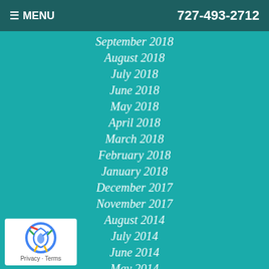≡ MENU   727-493-2712
September 2018
August 2018
July 2018
June 2018
May 2018
April 2018
March 2018
February 2018
January 2018
December 2017
November 2017
August 2014
July 2014
June 2014
May 2014
April 2014
March 2014
February 2014